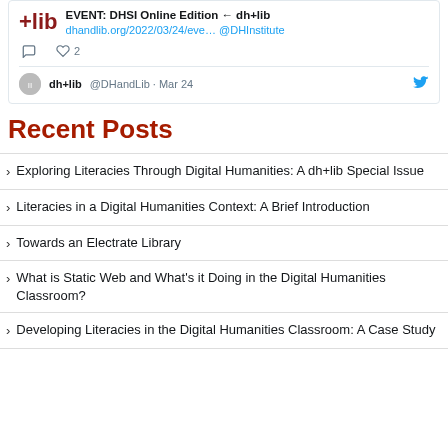[Figure (screenshot): Twitter/social media widget showing a tweet from dh+lib about a DHSI Online Edition event with a link dhandlib.org/2022/03/24/eve… @DHInstitute, with 2 likes, and a partial second tweet from dh+lib @DHandLib Mar 24 below]
Recent Posts
Exploring Literacies Through Digital Humanities: A dh+lib Special Issue
Literacies in a Digital Humanities Context: A Brief Introduction
Towards an Electrate Library
What is Static Web and What's it Doing in the Digital Humanities Classroom?
Developing Literacies in the Digital Humanities Classroom: A Case Study